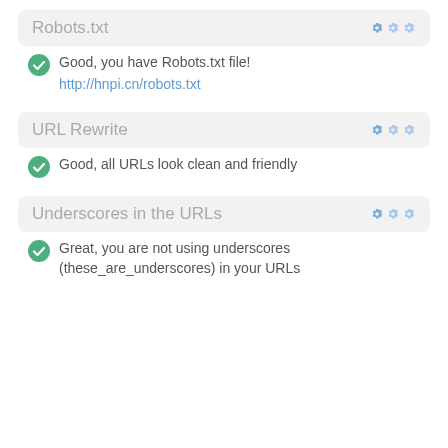Robots.txt
Good, you have Robots.txt file!
http://hnpi.cn/robots.txt
URL Rewrite
Good, all URLs look clean and friendly
Underscores in the URLs
Great, you are not using underscores (these_are_underscores) in your URLs